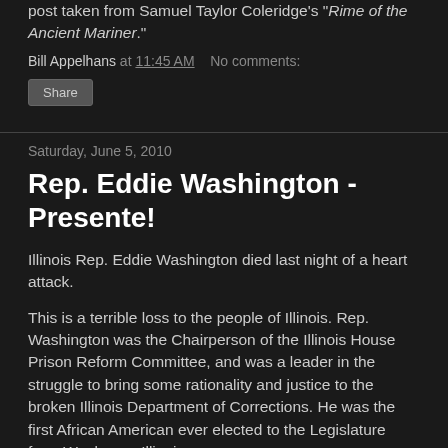post taken from Samuel Taylor Coleridge's "Rime of the Ancient Mariner."
Bill Appelhans at 11:45 AM   No comments:
Share
Saturday, June 5, 2010
Rep. Eddie Washington - Presente!
Illinois Rep. Eddie Washington died last night of a heart attack.
This is a terrible loss to the people of Illinois. Rep. Washington was the Chairperson of the Illinois House Prison Reform Committee, and was a leader in the struggle to bring some rationality and justice to the broken Illinois Department of Corrections. He was the first African American ever elected to the Legislature from Waukegan Illinois.
Eddie impressed me personally very deeply in our work to correct the injustices of the current prison-industrial complex